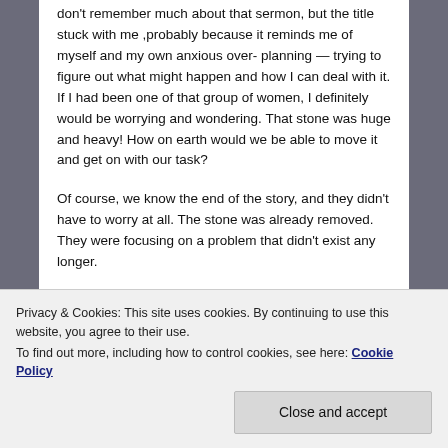don't remember much about that sermon, but the title stuck with me ,probably because it reminds me of myself and my own anxious over- planning — trying to figure out what might happen and how I can deal with it. If I had been one of that group of women, I definitely would be worrying and wondering. That stone was huge and heavy! How on earth would we be able to move it and get on with our task?
Of course, we know the end of the story, and they didn't have to worry at all. The stone was already removed. They were focusing on a problem that didn't exist any longer.
Now, I'm not saying we shouldn't plan ahead. What I am
Privacy & Cookies: This site uses cookies. By continuing to use this website, you agree to their use.
To find out more, including how to control cookies, see here: Cookie Policy